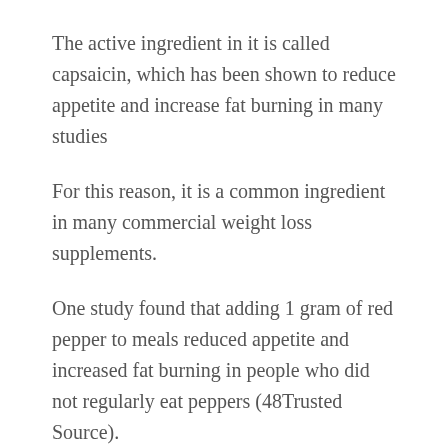The active ingredient in it is called capsaicin, which has been shown to reduce appetite and increase fat burning in many studies
For this reason, it is a common ingredient in many commercial weight loss supplements.
One study found that adding 1 gram of red pepper to meals reduced appetite and increased fat burning in people who did not regularly eat peppers (48Trusted Source).
However, there was no effect in people who were accustomed to eating spicy food, indicating that a tolerance to the effects can build up.
Some animal studies have also found capsaicin t…